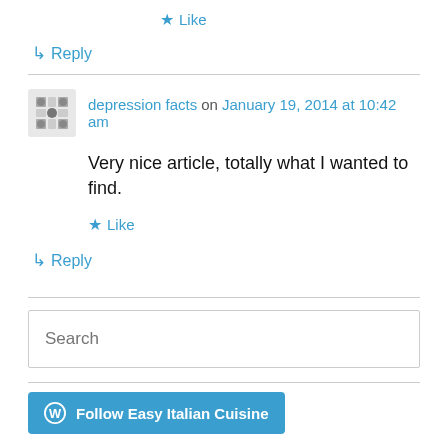★ Like
↳ Reply
depression facts on January 19, 2014 at 10:42 am
Very nice article, totally what I wanted to find.
★ Like
↳ Reply
Search
Follow Easy Italian Cuisine